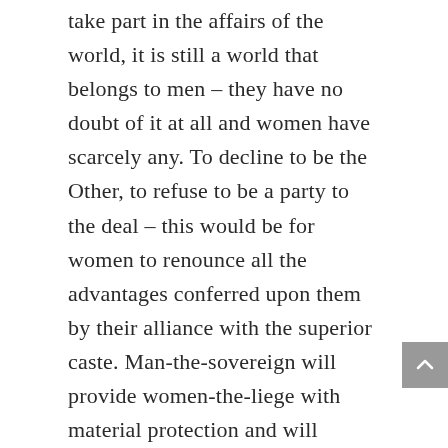take part in the affairs of the world, it is still a world that belongs to men – they have no doubt of it at all and women have scarcely any. To decline to be the Other, to refuse to be a party to the deal – this would be for women to renounce all the advantages conferred upon them by their alliance with the superior caste. Man-the-sovereign will provide women-the-liege with material protection and will undertake the moral justification of her existence; thus she can evade at once both economic risk and the metaphysical risk of a liberty in which ends and aims must be contrived without assistance. Indeed, along